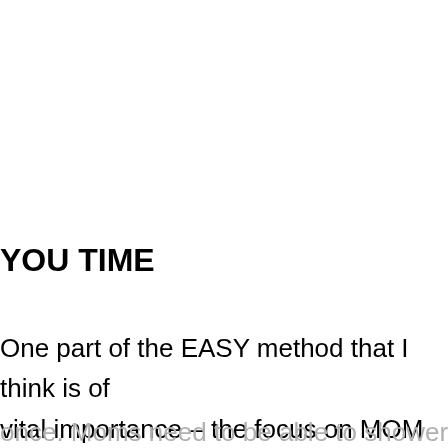YOU TIME
One part of the EASY method that I think is of vital importance – the focus on MOM for
once. Moms need to be able to shower, eat